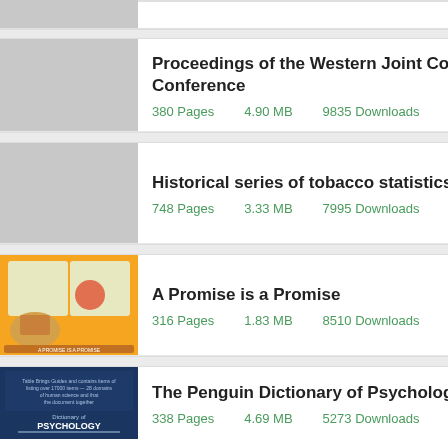Proceedings of the Western Joint Computer Conference
380 Pages   4.90 MB   9835 Downloads   Format: FB2
Historical series of tobacco statistics
748 Pages   3.33 MB   7995 Downloads   Format: FB2
A Promise is a Promise
316 Pages   1.83 MB   8510 Downloads   Format: FB2
The Penguin Dictionary of Psychology
338 Pages   4.69 MB   5273 Downloads   Format: FB2